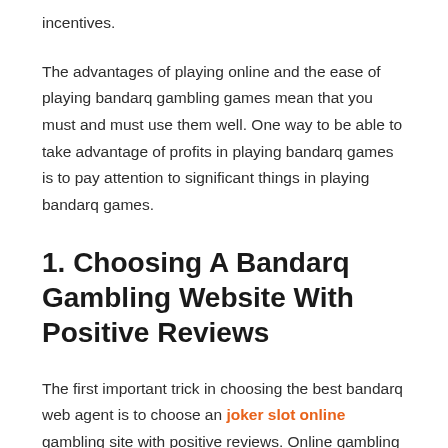incentives.
The advantages of playing online and the ease of playing bandarq gambling games mean that you must and must use them well. One way to be able to take advantage of profits in playing bandarq games is to pay attention to significant things in playing bandarq games.
1. Choosing A Bandarq Gambling Website With Positive Reviews
The first important trick in choosing the best bandarq web agent is to choose an joker slot online gambling site with positive reviews. Online gambling agents who have